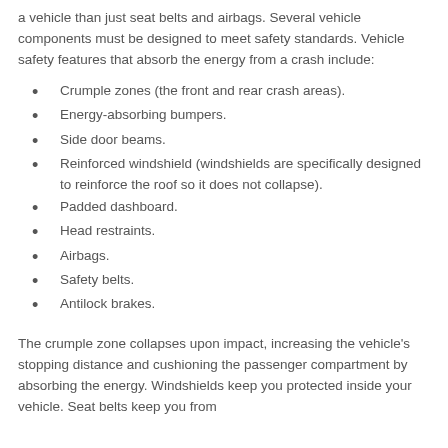a vehicle than just seat belts and airbags. Several vehicle components must be designed to meet safety standards. Vehicle safety features that absorb the energy from a crash include:
Crumple zones (the front and rear crash areas).
Energy-absorbing bumpers.
Side door beams.
Reinforced windshield (windshields are specifically designed to reinforce the roof so it does not collapse).
Padded dashboard.
Head restraints.
Airbags.
Safety belts.
Antilock brakes.
The crumple zone collapses upon impact, increasing the vehicle's stopping distance and cushioning the passenger compartment by absorbing the energy. Windshields keep you protected inside your vehicle. Seat belts keep you from